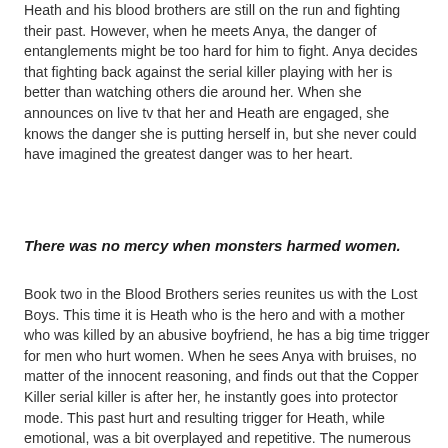Heath and his blood brothers are still on the run and fighting their past. However, when he meets Anya, the danger of entanglements might be too hard for him to fight. Anya decides that fighting back against the serial killer playing with her is better than watching others die around her. When she announces on live tv that her and Heath are engaged, she knows the danger she is putting herself in, but she never could have imagined the greatest danger was to her heart.
There was no mercy when monsters harmed women.
Book two in the Blood Brothers series reunites us with the Lost Boys. This time it is Heath who is the hero and with a mother who was killed by an abusive boyfriend, he has a big time trigger for men who hurt women. When he sees Anya with bruises, no matter of the innocent reasoning, and finds out that the Copper Killer serial killer is after her, he instantly goes into protector mode. This past hurt and resulting trigger for Heath, while emotional, was a bit overplayed and repetitive. The numerous times he saw red or freaked out made him seem less strong protector and more auto-pilot